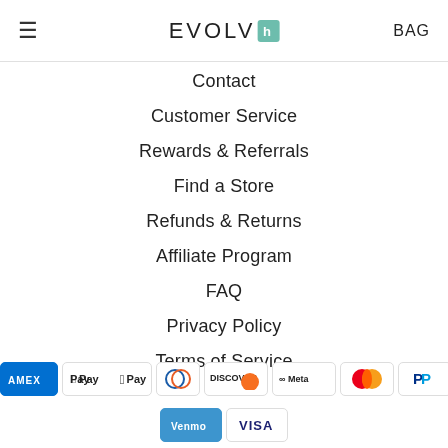≡  EVOLV[h]  BAG
Contact
Customer Service
Rewards & Referrals
Find a Store
Refunds & Returns
Affiliate Program
FAQ
Privacy Policy
Terms of Service
[Figure (logo): Payment method icons: Amazon, Amex, Apple Pay, Diners Club, Discover, Meta Pay, Mastercard, PayPal, Venmo, Visa]